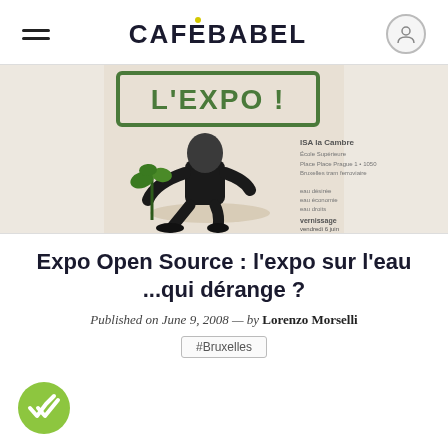CAFEBABEL
[Figure (illustration): An illustrated poster image showing a person in a superhero-style outfit crouching and planting a small tree/plant. A stamp reading 'L'EXPO!' appears in green at the top. Text on the right side reads 'ISA la Cambre' and other exhibition details.]
Expo Open Source : l'expo sur l'eau ...qui dérange ?
Published on June 9, 2008 — by Lorenzo Morselli
#Bruxelles